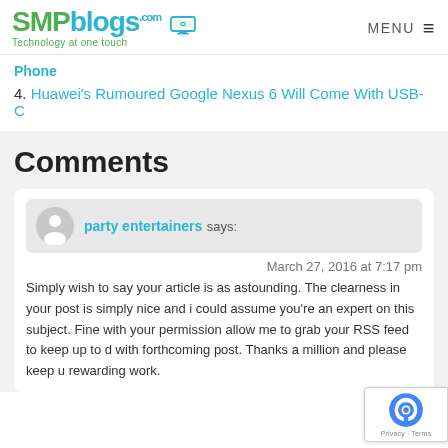SMPblogs.com — Technology at one touch
Phone
4. Huawei's Rumoured Google Nexus 6 Will Come With USB-C
Comments
party entertainers says:
March 27, 2016 at 7:17 pm
Simply wish to say your article is as astounding. The clearness in your post is simply nice and i could assume you're an expert on this subject. Fine with your permission allow me to grab your RSS feed to keep up to d with forthcoming post. Thanks a million and please keep u rewarding work.